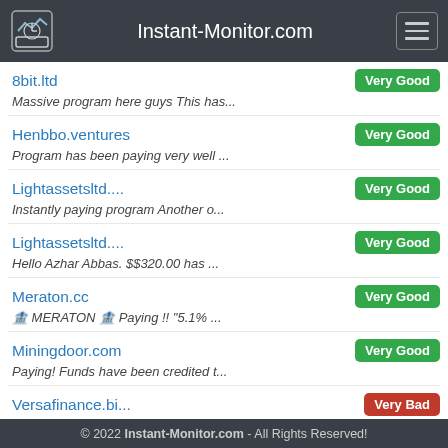Instant-Monitor.com
8bit.ltd — Very Good
Massive program here guys This has...
Henbbo.ventures — Very Good
Program has been paying very well ...
Lightassetsltd.... — Very Good
Instantly paying program Another o...
Lightassetsltd.... — Very Good
Hello Azhar Abbas. $$320.00 has ...
Meraton.cc — Very Good
🏦 MERATON 🏦 Paying !! "5.1% ...
Miningdoor.com — Very Good
Paying! Funds have been credited t...
Versafinance.bi... — Very Bad
Pay 04.09.2022 18:54:05 5.00 TRON  T...
© 2022 Instant-Monitor.com - All Rights Reserved!